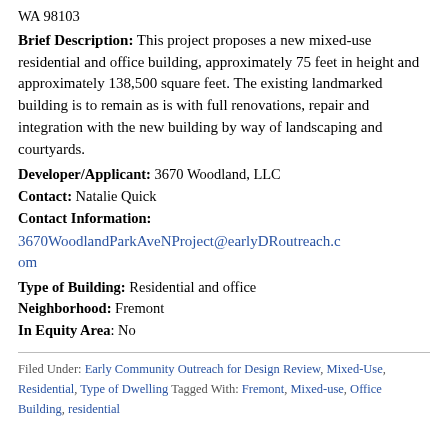WA 98103
Brief Description: This project proposes a new mixed-use residential and office building, approximately 75 feet in height and approximately 138,500 square feet. The existing landmarked building is to remain as is with full renovations, repair and integration with the new building by way of landscaping and courtyards.
Developer/Applicant: 3670 Woodland, LLC
Contact: Natalie Quick
Contact Information:
3670WoodlandParkAveNProject@earlyDRoutreach.com
Type of Building: Residential and office
Neighborhood: Fremont
In Equity Area: No
Filed Under: Early Community Outreach for Design Review, Mixed-Use, Residential, Type of Dwelling Tagged With: Fremont, Mixed-use, Office Building, residential